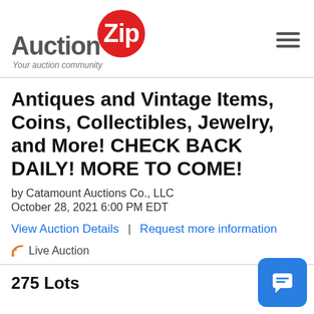[Figure (logo): AuctionZip logo with red circle around 'Zip' and tagline 'Your auction community']
Antiques and Vintage Items, Coins, Collectibles, Jewelry, and More! CHECK BACK DAILY! MORE TO COME!
by Catamount Auctions Co., LLC
October 28, 2021 6:00 PM EDT
View Auction Details | Request more information
Live Auction
275 Lots